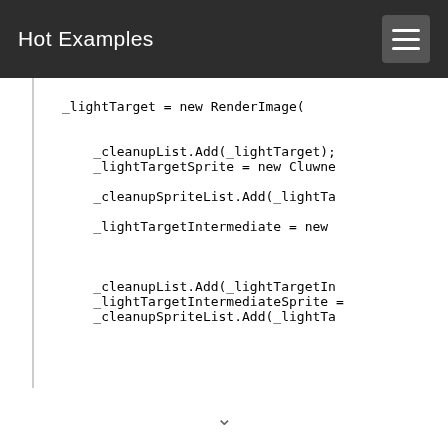Hot Examples
_lightTarget = new RenderImage(

    _cleanupList.Add(_lightTarget);
    _lightTargetSprite = new Cluwne

    _cleanupSpriteList.Add(_lightTa

    _lightTargetIntermediate = new 


    _cleanupList.Add(_lightTargetIn
    _lightTargetIntermediateSprite 
    _cleanupSpriteList.Add(_lightTa